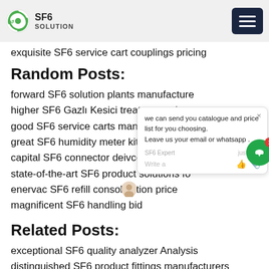SF6 SOLUTION
exquisite SF6 service cart couplings pricing
Random Posts:
forward SF6 solution plants manufacturers
higher SF6 Gazlı Kesici treatment price
good SF6 service carts manufacturers
great SF6 humidity meter kit factory
capital SF6 connector deivces price
state-of-the-art SF6 product solutions fo
enervac SF6 refill consolidation price
magnificent SF6 handling bid
Related Posts:
exceptional SF6 quality analyzer Analysis
distinguished SF6 product fittings manufacturers